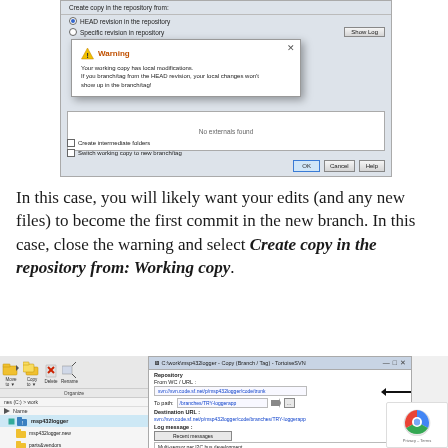[Figure (screenshot): TortoiseSVN dialog showing HEAD revision and specific revision in repository options, with a warning dialog overlay saying 'Warning: Your working copy has local modifications. If you branch/tag from the HEAD revision, your local changes won't show up in the branch/tag!' and a 'No externals found' box, with OK, Cancel, Help buttons and checkboxes for Create intermediate folders and Switch working copy to new branch/tag.]
In this case, you will likely want your edits (and any new files) to become the first commit in the new branch. In this case, close the warning and select Create copy in the repository from: Working copy.
[Figure (screenshot): TortoiseSVN Copy (Branch / Tag) dialog showing repository URL, To path field with /branches/TRY-loggerapp, Destination URL, and Log message field with 'Multi-sensor per I2C bus development' text. Left side shows Windows Explorer file tree with msp432logger selected. Arrow pointing to From WC/URL field and another arrow pointing to log message.]